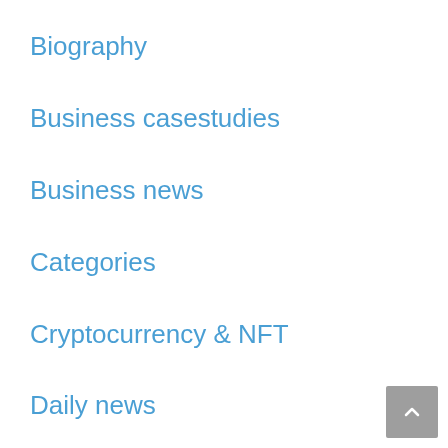Biography
Business casestudies
Business news
Categories
Cryptocurrency & NFT
Daily news
Entertainment
Fingertips
Games